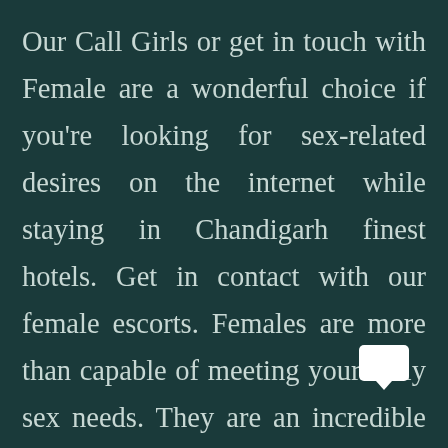Our Call Girls or get in touch with Female are a wonderful choice if you're looking for sex-related desires on the internet while staying in Chandigarh finest hotels. Get in contact with our female escorts. Females are more than capable of meeting your daily sex needs. They are an incredible partner and will connect you with a Sexy Lady for you. Each Sexy Lady on this page is completely committed to your choices and is ready to drive you crazy in a matter of seconds. In Chandigarh, we a have a specialized Chandigarh call girls a....